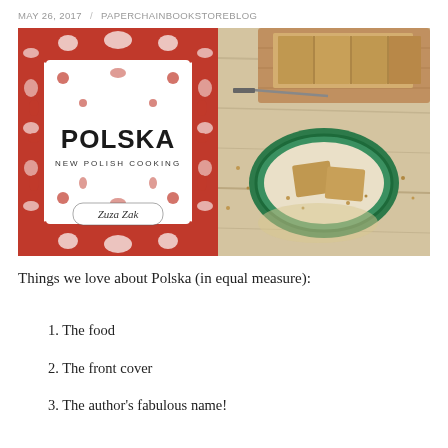MAY 26, 2017 / PAPERCHAINBOOKSTOREBLOG
[Figure (photo): Left half: Book cover of 'POLSKA: New Polish Cooking' by Zuza Zak, featuring red-and-white Polish folk art pattern with birds and flowers. Right half: Food photograph of sliced cake/bread on a green decorated plate and wooden board, on a white wooden surface.]
Things we love about Polska (in equal measure):
1. The food
2. The front cover
3. The author's fabulous name!